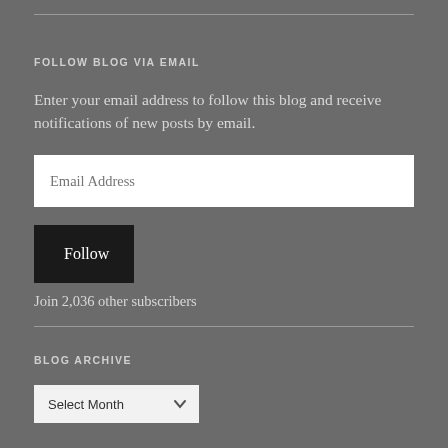FOLLOW BLOG VIA EMAIL
Enter your email address to follow this blog and receive notifications of new posts by email.
Join 2,036 other subscribers
BLOG ARCHIVE
Select Month